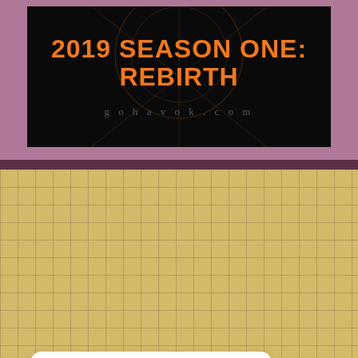[Figure (illustration): Black background banner with orange bold text '2019 SEASON ONE: REBIRTH' and grey URL text 'gohavok.com' below, with faint decorative line art in background]
Tweets from @CarieJuettner
Carie Juett... @... · Aug 19
Things that made me chuckle this week...
[Figure (photo): Two side-by-side thumbnail images at the bottom of the tweet card, partially visible]